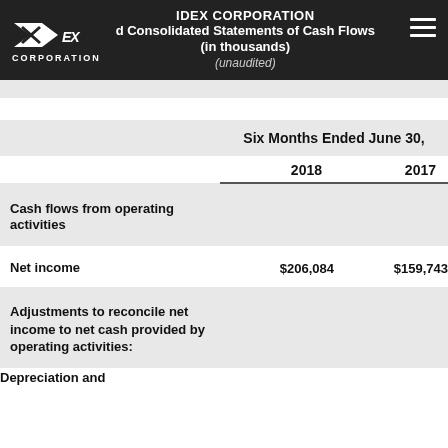IDEX CORPORATION Condensed Consolidated Statements of Cash Flows (in thousands) (unaudited)
|  | Six Months Ended June 30, 2018 | Six Months Ended June 30, 2017 |
| --- | --- | --- |
| Cash flows from operating activities |  |  |
| Net income | $206,084 | $159,743 |
| Adjustments to reconcile net income to net cash provided by operating activities: |  |  |
| Depreciation and |  |  |